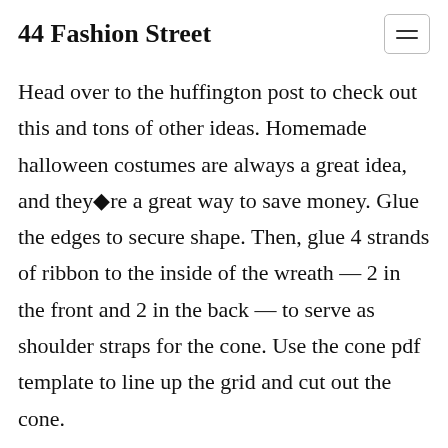44 Fashion Street
Head over to the huffington post to check out this and tons of other ideas. Homemade halloween costumes are always a great idea, and they◆re a great way to save money. Glue the edges to secure shape. Then, glue 4 strands of ribbon to the inside of the wreath — 2 in the front and 2 in the back — to serve as shoulder straps for the cone. Use the cone pdf template to line up the grid and cut out the cone.